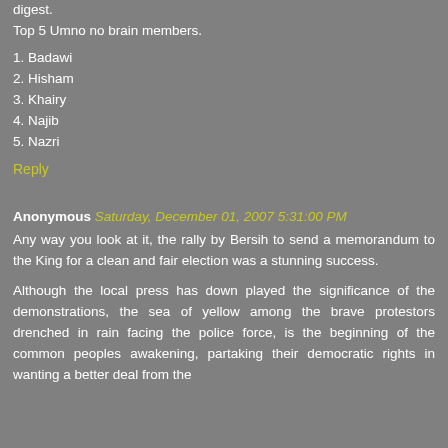digest.
Top 5 Umno no brain members.
1. Badawi
2. Hisham
3. Khairy
4. Najib
5. Nazri
Reply
Anonymous Saturday, December 01, 2007 5:31:00 PM
Any way you look at it, the rally by Bersih to send a memorandum to the King for a clean and fair election was a stunning success.
Although the local press has down played the significance of the demonstrations, the sea of yellow among the brave protestors drenched in rain facing the police force, is the beginning of the common peoples awakening, partaking their democratic rights in wanting a better deal from the